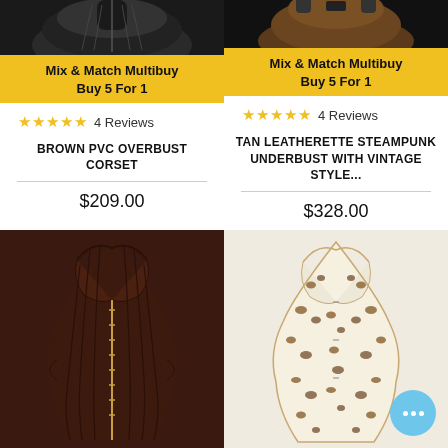[Figure (photo): Dark/black corset top viewed from upper angle, cropped at top]
[Figure (photo): Brown/tan steampunk underbust corset with straps, cropped at top]
Mix & Match Multibuy
Buy 5 For 1
Mix & Match Multibuy
Buy 5 For 1
★★★★★ 4 Reviews
★★★★★ 4 Reviews
BROWN PVC OVERBUST CORSET
TAN LEATHERETTE STEAMPUNK UNDERBUST WITH VINTAGE STYLE...
$209.00
$328.00
[Figure (photo): Dark brown overbust corset with zipper front, ribbed panels]
[Figure (photo): Leopard print cream/beige overbust corset]